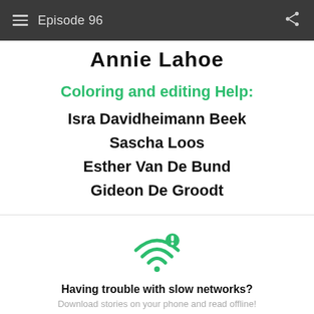Episode 96
Annie Lahoe
Coloring and editing Help:
Isra Davidheimann Beek
Sascha Loos
Esther Van De Bund
Gideon De Groodt
[Figure (infographic): WiFi icon with exclamation mark warning symbol in green]
Having trouble with slow networks?
Download stories on your phone and read offline!
Go to the WEBTOON app